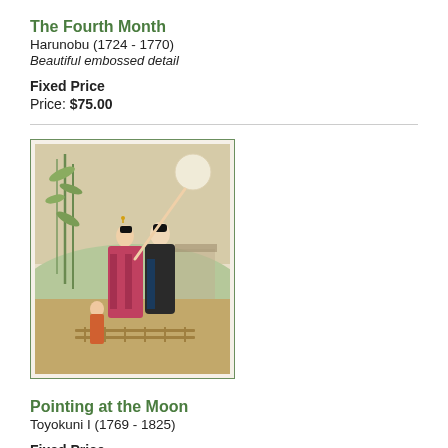The Fourth Month
Harunobu (1724 - 1770)
Beautiful embossed detail
Fixed Price
Price: $75.00
[Figure (illustration): Japanese woodblock print depicting two female figures walking outdoors under a moon, with bamboo and foliage in background]
Pointing at the Moon
Toyokuni I (1769 - 1825)
Fixed Price
Price: $75.00